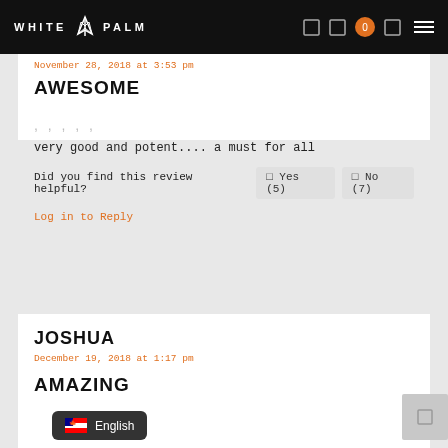WHITE PALM
November 28, 2018 at 3:53 pm
AWESOME
very good and potent.... a must for all
Did you find this review helpful? Yes (5) No (7)
Log in to Reply
JOSHUA
December 19, 2018 at 1:17 pm
AMAZING